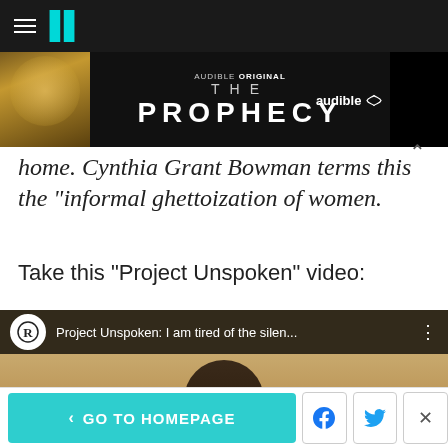HuffPost navigation header
[Figure (other): Audible Original 'THE PROPHECY' advertisement banner with dark background and person image]
home. Cynthia Grant Bowman terms this the "informal ghettoization of women.
Take this "Project Unspoken" video:
[Figure (screenshot): Embedded YouTube video: Project Unspoken: I am tired of the silen... showing a woman with glasses and a play button overlay]
< GO TO HOMEPAGE | Facebook share | Twitter share | Close